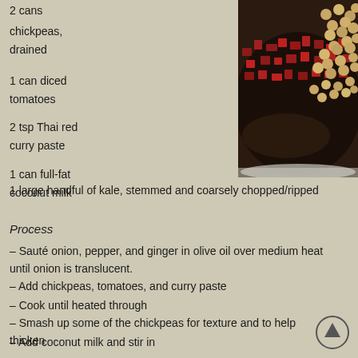2 cans
chickpeas, drained
1 can diced tomatoes
2 tsp Thai red curry paste
1 can full-fat coconut milk
[Figure (photo): A black skillet/pan containing chickpeas and diced tomatoes being cooked together]
1 large handful of kale, stemmed and coarsely chopped/ripped
Process
– Sauté onion, pepper, and ginger in olive oil over medium heat until onion is translucent.
– Add chickpeas, tomatoes, and curry paste
– Cook until heated through
– Smash up some of the chickpeas for texture and to help thicken
– Add coconut milk and stir in
– Add kale, cover, and allow to simmer 5 minutes